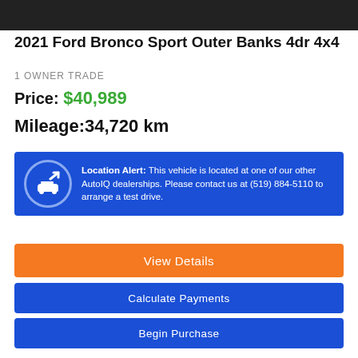[Figure (photo): Top portion of a vehicle listing showing the top of a Ford Bronco Sport image (dark cropped photo bar)]
2021 Ford Bronco Sport Outer Banks 4dr 4x4
1 OWNER TRADE
Price: $40,989
Mileage: 34,720 km
Location Alert: This vehicle is located at one of our other AutoIQ dealerships. Please contact us at (519) 884-5110 to arrange a test drive.
View Details
Calculate Payments
Begin Purchase